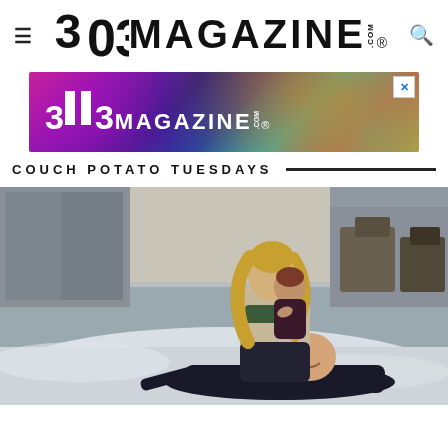303MAGAZINE.COM
[Figure (screenshot): 303Magazine.com advertisement banner with colorful bokeh background and white logo text]
COUCH POTATO TUESDAYS
[Figure (photo): A woman with long blonde curly hair holds a young child while a man lies on snowy ground smiling, outdoor winter scene with patio furniture in background]